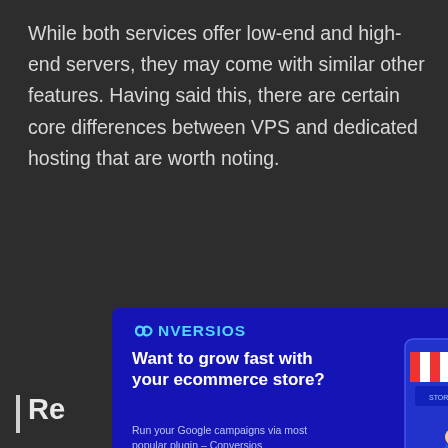While both services offer low-end and high-end servers, they may come with similar other features. Having said this, there are certain core differences between VPS and dedicated hosting that are worth noting.
Re…
With … es. Whe … he resou … hosting … resources are at your disposal.
[Figure (screenshot): CONVERSIOS advertisement modal popup with dark blue background. Shows logo 'CONVERSIOS' with infinity-like icon in cyan, headline 'Want to grow fast with your ecommerce store?', subtext 'Run your Google campaigns via most popular plugin – Conversios', a blue gradient CTA button 'I am in »', and an illustration of a woman with a shopping cart next to a storefront. Close button (X) in top right corner.]
If you need more resources for VPS hosting, you can up accordingly whereas, for dedicated hosting, you're much all set with a large number of resources available